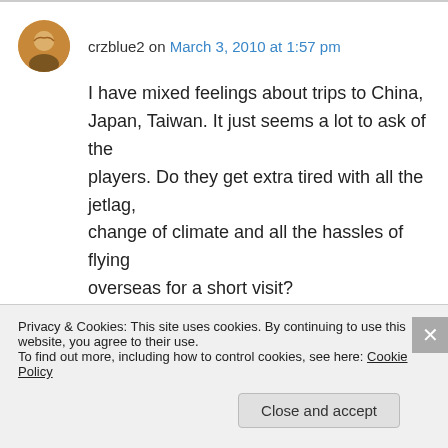crzblue2 on March 3, 2010 at 1:57 pm
I have mixed feelings about trips to China, Japan, Taiwan. It just seems a lot to ask of the players. Do they get extra tired with all the jetlag, change of climate and all the hassles of flying overseas for a short visit?
Emma
http://crzblue.mlblogs.com/
http://DodgersBlueBlog.com/
Privacy & Cookies: This site uses cookies. By continuing to use this website, you agree to their use.
To find out more, including how to control cookies, see here: Cookie Policy
Close and accept